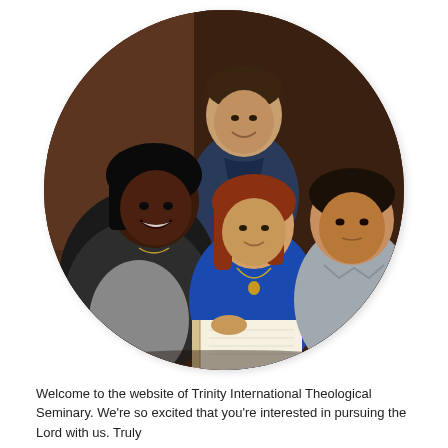[Figure (photo): A circular cropped photo showing four young adults in a Bible study group. One man stands behind wearing a dark blue shirt, one woman on the left wears a dark hoodie and grey shirt and has dark skin, one woman in the center wears a bright blue top and a necklace and holds an open book (Bible), and one man on the right wears a grey shirt. The background is a dark brownish-warm color.]
Welcome to the website of Trinity International Theological Seminary. We're so excited that you're interested in pursuing the Lord with us. Truly